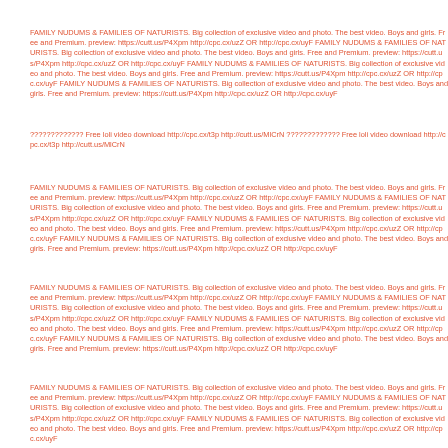FAMILY NUDUMS & FAMILIES OF NATURISTS. Big collection of exclusive video and photo. The best video. Boys and girls. Free and Premium. preview: https://cutt.us/P4Xpm http://cpc.cx/uzZ OR http://cpc.cx/uyF FAMILY NUDUMS & FAMILIES OF NATURISTS. Big collection of exclusive video and photo. The best video. Boys and girls. Free and Premium. preview: https://cutt.us/P4Xpm http://cpc.cx/uzZ OR http://cpc.cx/uyF FAMILY NUDUMS & FAMILIES OF NATURISTS. Big collection of exclusive video and photo. The best video. Boys and girls. Free and Premium. preview: https://cutt.us/P4Xpm http://cpc.cx/uzZ OR http://cpc.cx/uyF FAMILY NUDUMS & FAMILIES OF NATURISTS. Big collection of exclusive video and photo. The best video. Boys and girls. Free and Premium. preview: https://cutt.us/P4Xpm http://cpc.cx/uzZ OR http://cpc.cx/uyF
????????????? Free loli video download http://cpc.cx/t3p http://cutt.us/MlCrN ????????????? Free loli video download http://cpc.cx/t3p http://cutt.us/MlCrN
FAMILY NUDUMS & FAMILIES OF NATURISTS. Big collection of exclusive video and photo. The best video. Boys and girls. Free and Premium. preview: https://cutt.us/P4Xpm http://cpc.cx/uzZ OR http://cpc.cx/uyF FAMILY NUDUMS & FAMILIES OF NATURISTS. Big collection of exclusive video and photo. The best video. Boys and girls. Free and Premium. preview: https://cutt.us/P4Xpm http://cpc.cx/uzZ OR http://cpc.cx/uyF FAMILY NUDUMS & FAMILIES OF NATURISTS. Big collection of exclusive video and photo. The best video. Boys and girls. Free and Premium. preview: https://cutt.us/P4Xpm http://cpc.cx/uzZ OR http://cpc.cx/uyF FAMILY NUDUMS & FAMILIES OF NATURISTS. Big collection of exclusive video and photo. The best video. Boys and girls. Free and Premium. preview: https://cutt.us/P4Xpm http://cpc.cx/uzZ OR http://cpc.cx/uyF
FAMILY NUDUMS & FAMILIES OF NATURISTS. Big collection of exclusive video and photo. The best video. Boys and girls. Free and Premium. preview: https://cutt.us/P4Xpm http://cpc.cx/uzZ OR http://cpc.cx/uyF FAMILY NUDUMS & FAMILIES OF NATURISTS. Big collection of exclusive video and photo. The best video. Boys and girls. Free and Premium. preview: https://cutt.us/P4Xpm http://cpc.cx/uzZ OR http://cpc.cx/uyF FAMILY NUDUMS & FAMILIES OF NATURISTS. Big collection of exclusive video and photo. The best video. Boys and girls. Free and Premium. preview: https://cutt.us/P4Xpm http://cpc.cx/uzZ OR http://cpc.cx/uyF FAMILY NUDUMS & FAMILIES OF NATURISTS. Big collection of exclusive video and photo. The best video. Boys and girls. Free and Premium. preview: https://cutt.us/P4Xpm http://cpc.cx/uzZ OR http://cpc.cx/uyF
FAMILY NUDUMS & FAMILIES OF NATURISTS. Big collection of exclusive video and photo. The best video. Boys and girls. Free and Premium. preview: https://cutt.us/P4Xpm http://cpc.cx/uzZ OR http://cpc.cx/uyF FAMILY NUDUMS & FAMILIES OF NATURISTS. Big collection of exclusive video and photo. The best video. Boys and girls. Free and Premium. preview: https://cutt.us/P4Xpm http://cpc.cx/uzZ OR http://cpc.cx/uyF FAMILY NUDUMS & FAMILIES OF NATURISTS. Big collection of exclusive video and photo. The best video. Boys and girls. Free and Premium. preview: https://cutt.us/P4Xpm http://cpc.cx/uzZ OR http://cpc.cx/uyF